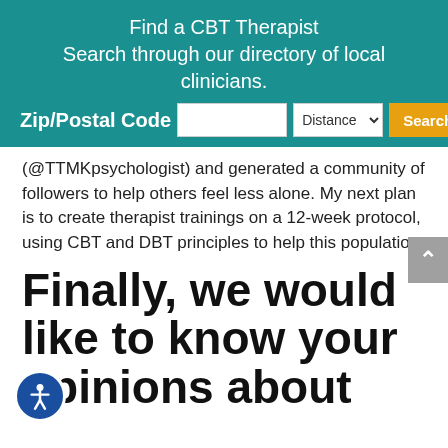Find a CBT Therapist
Search through our directory of local clinicians.
(@TTMKpsychologist) and generated a community of followers to help others feel less alone. My next plan is to create therapist trainings on a 12-week protocol, using CBT and DBT principles to help this population.
Finally, we would like to know your opinions about